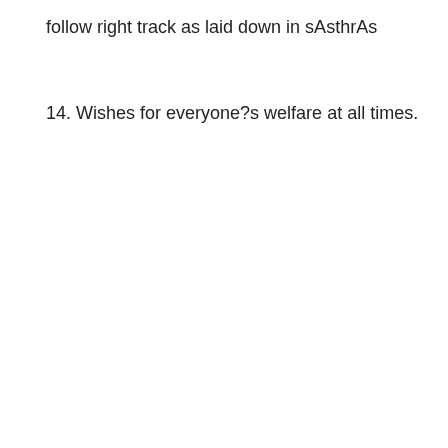follow right track as laid down in sAsthrAs
14. Wishes for everyone?s welfare at all times.